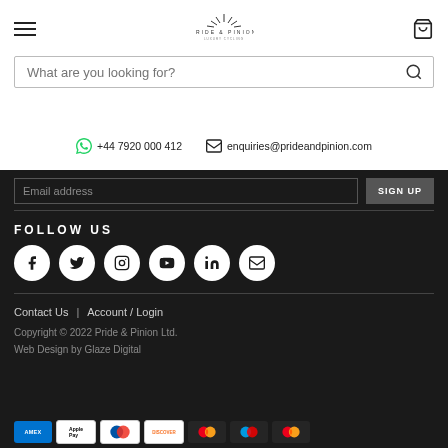Pride & Pinion — navigation header with logo and cart
What are you looking for?
+44 7920 000 412   enquiries@prideandpinion.com
Email address  SIGN UP
FOLLOW US
[Figure (infographic): Social media icons in white circles: Facebook, Twitter, Instagram, YouTube, LinkedIn, Email]
Contact Us  |  Account / Login
Copyright © 2022 Pride & Pinion Ltd.
Web Design by Glaze Digital
[Figure (infographic): Payment method icons: American Express, Apple Pay, Diners Club, Discover, Mastercard, Maestro, Mastercard]